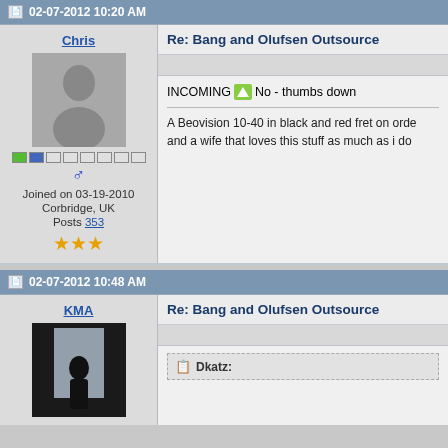02-07-2012 10:20 AM
Chris
[Figure (photo): Gray silhouette avatar placeholder for user Chris]
Joined on 03-19-2010
Corbridge, UK
Posts 353
Re: Bang and Olufsen Outsource
INCOMING No - thumbs down
A Beovision 10-40 in black and red fret on orde and a wife that loves this stuff as much as i do
02-07-2012 10:48 AM
KMA
[Figure (photo): Dark silhouette photo of a person standing in front of a window for user KMA]
Re: Bang and Olufsen Outsource
Dkatz: